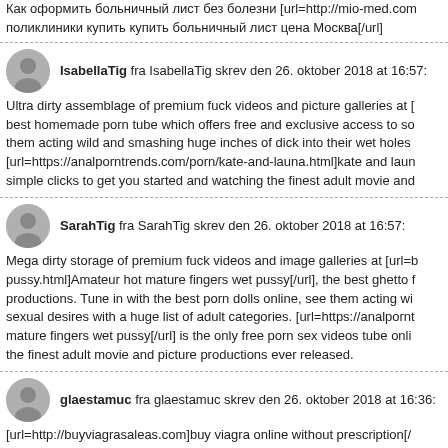Как оформить больничный лист без болезни [url=http://mio-med.com... поликлиники купить купить больничный лист цена Москва[/url]
IsabellaTig fra IsabellaTig skrev den 26. oktober 2018 at 16:57: Ultra dirty assemblage of premium fuck videos and picture galleries at [ best homemade porn tube which offers free and exclusive access to so... them acting wild and smashing huge inches of dick into their wet holes [url=https://analporntrends.com/porn/kate-and-launa.html]kate and laun... simple clicks to get you started and watching the finest adult movie and...
SarahTig fra SarahTig skrev den 26. oktober 2018 at 16:57: Mega dirty storage of premium fuck videos and image galleries at [url=b... pussy.html]Amateur hot mature fingers wet pussy[/url], the best ghetto f... productions. Tune in with the best porn dolls online, see them acting wi... sexual desires with a huge list of adult categories. [url=https://analporn... mature fingers wet pussy[/url] is the only free porn sex videos tube onli... the finest adult movie and picture productions ever released.
glaestamuc fra glaestamuc skrev den 26. oktober 2018 at 16:36: [url=http://buyviagrasaleas.com]buy viagra online without prescription[/...